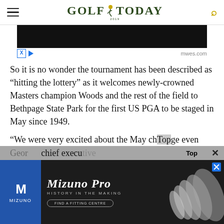GOLF TODAY
[Figure (screenshot): Dark advertisement banner with ad control icons (X and play button) and mwes.com URL]
So it is no wonder the tournament has been described as “hitting the lottery” as it welcomes newly-crowned Masters champion Woods and the rest of the field to Bethpage State Park for the first US PGA to be staged in May since 1949.
“We were very excited about the May change even Geor chief execu
[Figure (screenshot): Mizuno Pro golf irons advertisement - History in the Making - Find a Fitting Centre, with overlay showing Top button and close X]